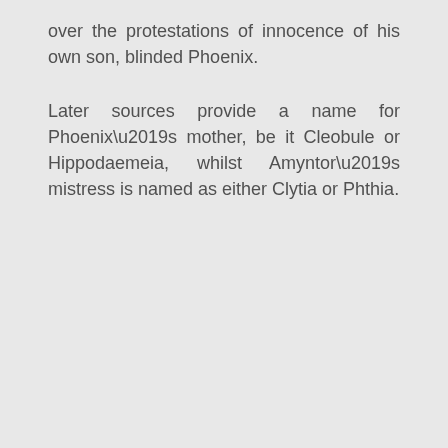over the protestations of innocence of his own son, blinded Phoenix.
Later sources provide a name for Phoenix’s mother, be it Cleobule or Hippodaemeia, whilst Amyntor’s mistress is named as either Clytia or Phthia.